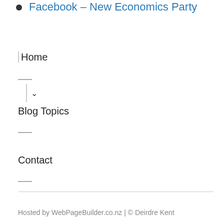Facebook – New Economics Party
Home
Blog Topics
Contact
Hosted by WebPageBuilder.co.nz | © Deirdre Kent